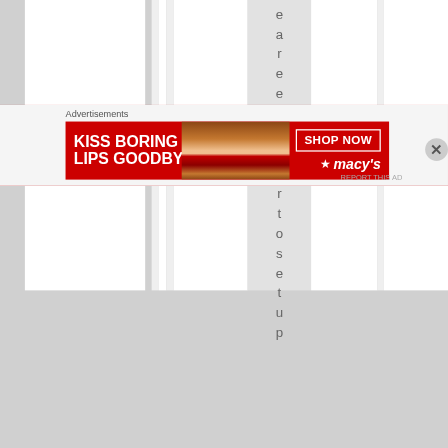[Figure (screenshot): Web page screenshot showing vertical striped column layout with a gray highlighted column containing vertically stacked letters spelling 'eareasierto setup']
Advertisements
[Figure (photo): Advertisement banner for Macy's lipstick product. Red background with white text reading 'KISS BORING LIPS GOODBYE', image of woman's lips with red lipstick, 'SHOP NOW' button and Macy's star logo]